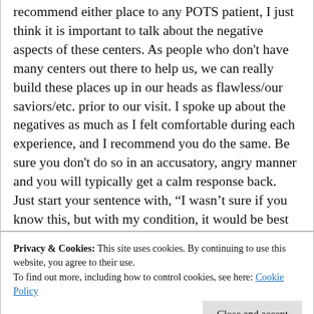recommend either place to any POTS patient, I just think it is important to talk about the negative aspects of these centers. As people who don't have many centers out there to help us, we can really build these places up in our heads as flawless/our saviors/etc. prior to our visit. I spoke up about the negatives as much as I felt comfortable during each experience, and I recommend you do the same. Be sure you don't do so in an accusatory, angry manner and you will typically get a calm response back. Just start your sentence with, “I wasn’t sure if you know this, but with my condition, it would be best for
Privacy & Cookies: This site uses cookies. By continuing to use this website, you agree to their use.
To find out more, including how to control cookies, see here: Cookie Policy
I wish there was a place for people with